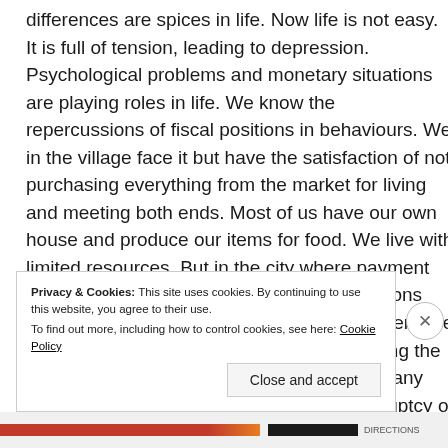differences are spices in life. Now life is not easy. It is full of tension, leading to depression. Psychological problems and monetary situations are playing roles in life. We know the repercussions of fiscal positions in behaviours. We in the village face it but have the satisfaction of not purchasing everything from the market for living and meeting both ends. Most of us have our own house and produce our items for food. We live with limited resources. But in the city where payment has to be made for everything, fiscal conditions affect life and such situations may arise if there are differences in views of life in marriage. During the economic recession, we found the end of many families in many countries due to the bankruptcy of many industries and fiscal institutions etc.
Privacy & Cookies: This site uses cookies. By continuing to use this website, you agree to their use. To find out more, including how to control cookies, see here: Cookie Policy
Close and accept